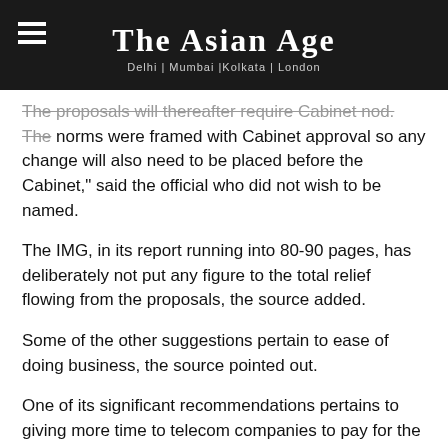The Asian Age | Delhi | Mumbai |Kolkata | London
The proposals will thereafter require Cabinet nod. The norms were framed with Cabinet approval so any change will also need to be placed before the Cabinet," said the official who did not wish to be named.
The IMG, in its report running into 80-90 pages, has deliberately not put any figure to the total relief flowing from the proposals, the source added.
Some of the other suggestions pertain to ease of doing business, the source pointed out.
One of its significant recommendations pertains to giving more time to telecom companies to pay for the spectrum they buy. Currently, a portion of spectrum auction amount is taken as upfront payment by the Department of Telecom(DoT) and the balance after a two-year moratorium is paid out every year in 10 installments.